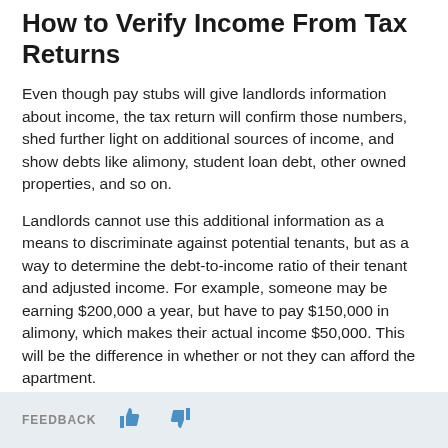How to Verify Income From Tax Returns
Even though pay stubs will give landlords information about income, the tax return will confirm those numbers, shed further light on additional sources of income, and show debts like alimony, student loan debt, other owned properties, and so on.
Landlords cannot use this additional information as a means to discriminate against potential tenants, but as a way to determine the debt-to-income ratio of their tenant and adjusted income. For example, someone may be earning $200,000 a year, but have to pay $150,000 in alimony, which makes their actual income $50,000. This will be the difference in whether or not they can afford the apartment.
Important elements to look at when reviewing a tax return are:
FEEDBACK